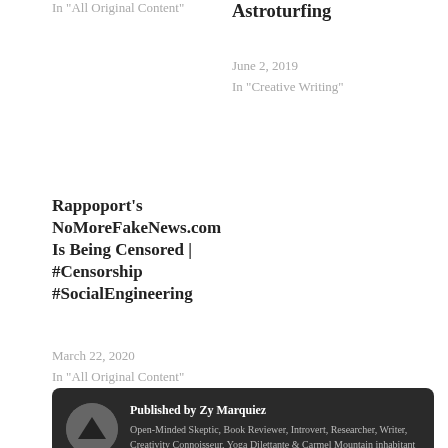In "All Original Content"
Astroturfing
June 2, 2019
In "Creative Writing"
Rappoport's NoMoreFakeNews.com Is Being Censored | #Censorship #SocialEngineering
March 22, 2020
In "All Original Content"
ALEX NEWMAN
BIG EDU
FREEDOMPROJECT
PROPAGANDA
SEX
SOCIAL ENGINEERING
THE NEWMAN REPORT
Published by Zy Marquiez
Open-Minded Skeptic, Book Reviewer, Introvert, Researcher, Writer, Creativity Connoisseur, Yoga Dilettante & Carmel Mountain inhabitant all rolled into Zy Marquiez.